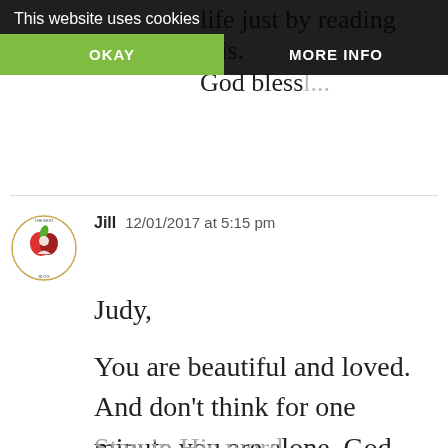life just by reading this. God bless...
This website uses cookies
OKAY
MORE INFO
Jill  12/01/2017 at 5:15 pm
[Figure (logo): Circular logo with apple/heart illustration and text around the border]
Judy,

You are beautiful and loved. And don't think for one minute you are alone. God will get your through this. Stay in His word daily. Cling to Him,